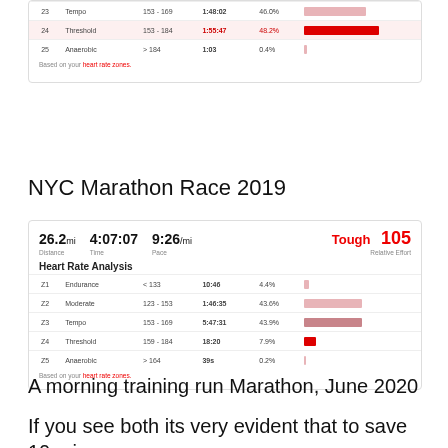[Figure (screenshot): Partial Garmin/Strava heart rate analysis card showing zones 23-25: Z3 Tempo 153-169 1:48:02 46.0%, Z4 Threshold 153-184 1:55:47 48.2% (large red bar), Z5 Anaerobic >184 1:03 0.4%. Link: Based on your heart rate zones.]
NYC Marathon Race 2019
[Figure (screenshot): Garmin/Strava activity card: 26.2mi 4:07:07 9:26/mi Distance Time Pace. Tough 105 Relative Effort. Heart Rate Analysis table: Z1 Endurance <133 10:46 4.4%, Z2 Moderate 123-153 1:46:35 43.6%, Z3 Tempo 153-169 5:47:31 43.9%, Z4 Threshold 159-184 18:20 7.9%, Z5 Anaerobic >164 39s 0.2%. Based on your heart rate zones.]
A morning training run Marathon, June 2020
If you see both its very evident that to save 10 mins of time you need to be running at a higher...